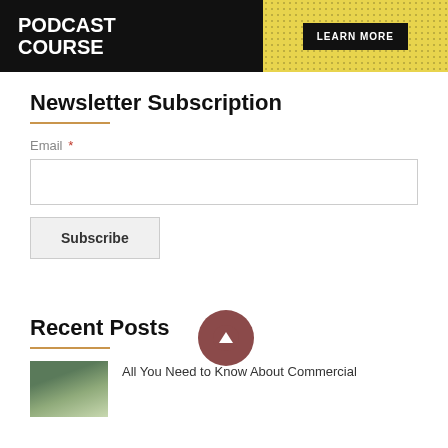[Figure (illustration): Podcast course advertisement banner with black background on left showing 'PODCAST COURSE' in white bold text, and yellow background on right with dotted pattern and a 'LEARN MORE' button in black.]
Newsletter Subscription
Email *
Subscribe
[Figure (other): Circular up-arrow scroll-to-top button in dark red/mauve color]
Recent Posts
[Figure (photo): Small thumbnail photo of what appears to be a commercial space or storage area]
All You Need to Know About Commercial